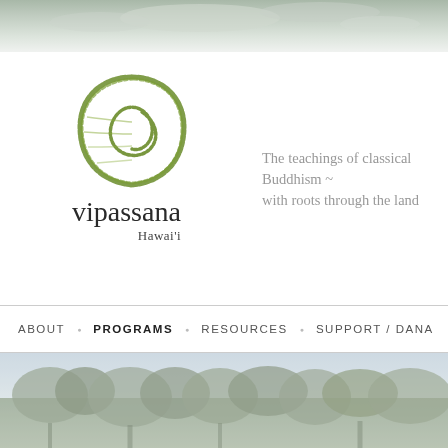[Figure (photo): Cloudy sky banner at top of page]
[Figure (logo): Vipassana Hawaii logo - green leaf/spiral droplet shape with text 'vipassana Hawai'i' below]
The teachings of classical Buddhism ~ with roots through the land
ABOUT · PROGRAMS · RESOURCES · SUPPORT / DANA
[Figure (photo): Landscape photo showing trees and sky in muted green-gray tones]